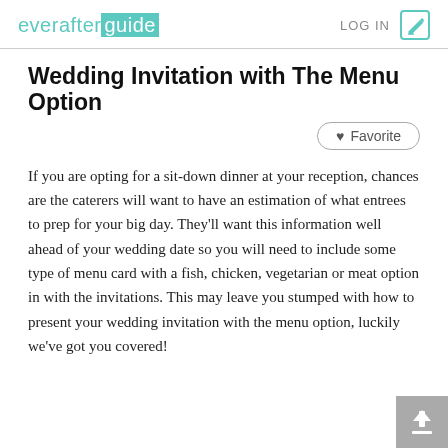everafterguide  LOG IN
Wedding Invitation with The Menu Option
If you are opting for a sit-down dinner at your reception, chances are the caterers will want to have an estimation of what entrees to prep for your big day. They'll want this information well ahead of your wedding date so you will need to include some type of menu card with a fish, chicken, vegetarian or meat option in with the invitations. This may leave you stumped with how to present your wedding invitation with the menu option, luckily we've got you covered!